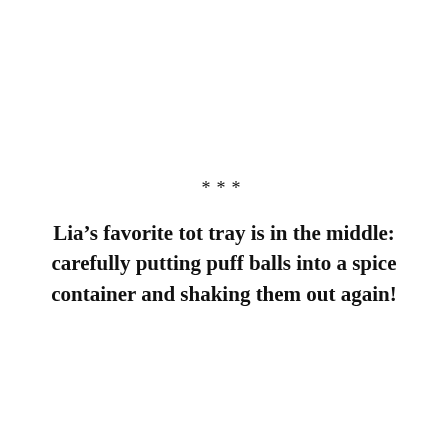***
Lia’s favorite tot tray is in the middle: carefully putting puff balls into a spice container and shaking them out again!